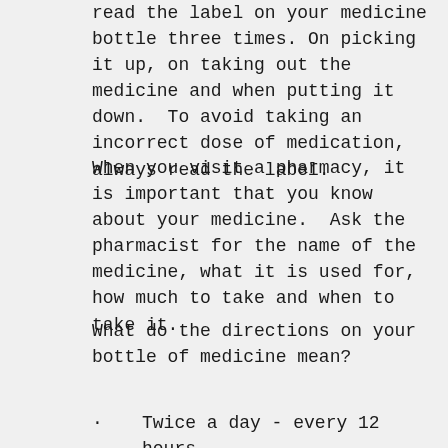read the label on your medicine bottle three times. On picking it up, on taking out the medicine and when putting it down.  To avoid taking an incorrect dose of medication, always read the label.
When you visit a pharmacy, it is important that you know about your medicine.  Ask the pharmacist for the name of the medicine, what it is used for, how much to take and when to take it.
What do the directions on your bottle of medicine mean?
Twice a day - every 12 hours